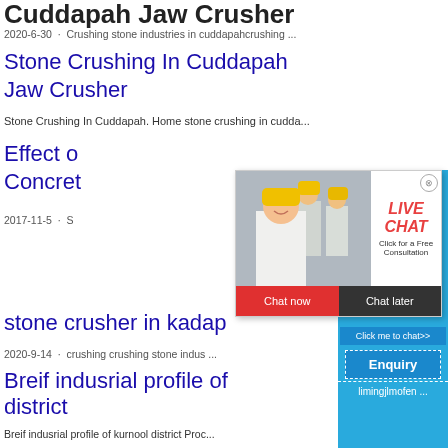Cuddapah Jaw Crusher
2020-6-30 · Crushing stone industries in cuddapahcrushing ...
Stone Crushing In Cuddapah Jaw Crusher
Stone Crushing In Cuddapah. Home stone crushing in cudda...
Effect of Concrete
2017-11-5 · S ...
[Figure (screenshot): Live chat popup overlay showing workers in yellow hard hats, LIVE CHAT label in red italic, 'Click for a Free Consultation' text, Chat now and Chat later buttons]
stone crusher in kadap
2020-9-14 · crushing crushing stone indus ...
Breif indusrial profile of district
Breif indusrial profile of kurnool district Proc...